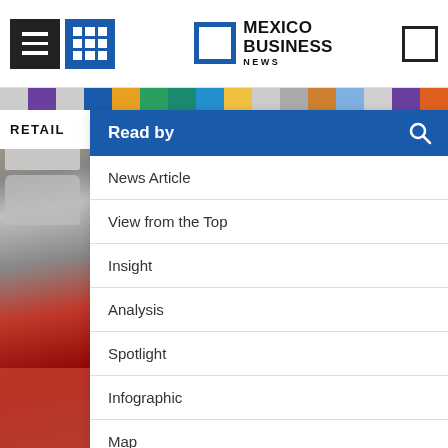[Figure (screenshot): Mexico Business News website header with hamburger menu, grid icon, logo, and search icon]
[Figure (infographic): Colorful horizontal stripe of colored squares in various colors]
RETAIL
Read by
News Article
View from the Top
Insight
Analysis
Spotlight
Infographic
Map
Roundtable
[Figure (photo): Background photos of cars on transport truck and trucks in parking lot]